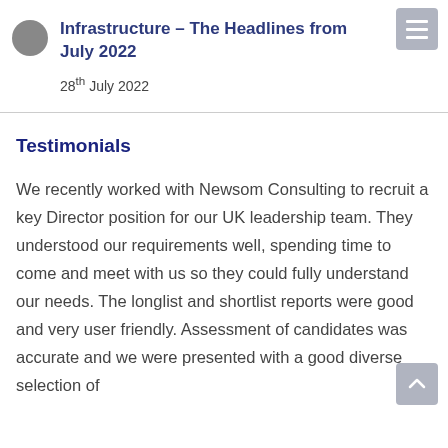Infrastructure – The Headlines from July 2022
28th July 2022
Testimonials
We recently worked with Newsom Consulting to recruit a key Director position for our UK leadership team. They understood our requirements well, spending time to come and meet with us so they could fully understand our needs. The longlist and shortlist reports were good and very user friendly. Assessment of candidates was accurate and we were presented with a good diverse selection of